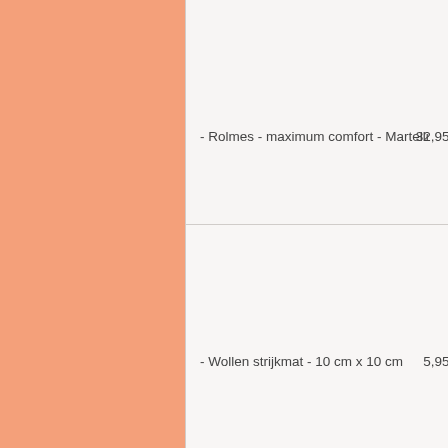- Rolmes - maximum comfort - Martelli    32,95EUR
- Wollen strijkmat - 10 cm x 10 cm    5,95EUR